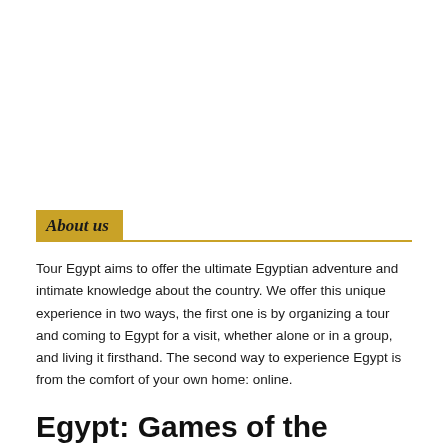About us
Tour Egypt aims to offer the ultimate Egyptian adventure and intimate knowledge about the country. We offer this unique experience in two ways, the first one is by organizing a tour and coming to Egypt for a visit, whether alone or in a group, and living it firsthand. The second way to experience Egypt is from the comfort of your own home: online.
Egypt: Games of the Ancient Egyptians